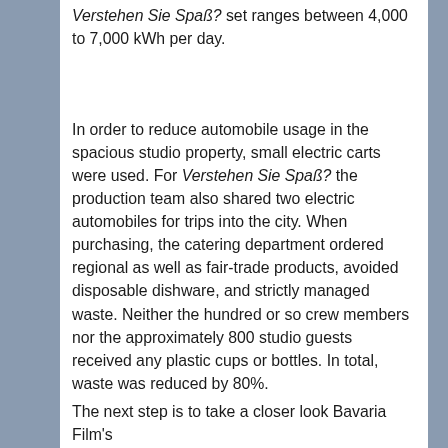Verstehen Sie Spaß? set ranges between 4,000 to 7,000 kWh per day.
In order to reduce automobile usage in the spacious studio property, small electric carts were used. For Verstehen Sie Spaß? the production team also shared two electric automobiles for trips into the city. When purchasing, the catering department ordered regional as well as fair-trade products, avoided disposable dishware, and strictly managed waste. Neither the hundred or so crew members nor the approximately 800 studio guests received any plastic cups or bottles. In total, waste was reduced by 80%.
The next step is to take a closer look Bavaria Film's